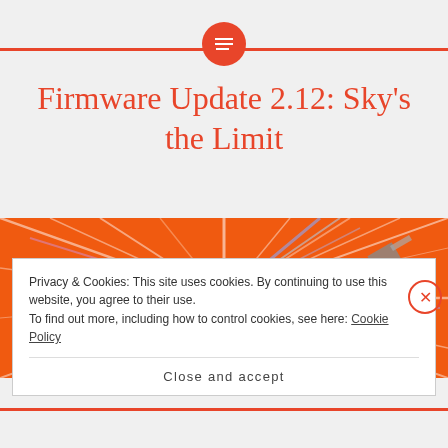Firmware Update 2.12: Sky's the Limit
[Figure (illustration): Abstract orange starburst/warp-speed background with light streaks radiating outward, with a globe and satellite imagery visible at the edges]
Privacy & Cookies: This site uses cookies. By continuing to use this website, you agree to their use.
To find out more, including how to control cookies, see here: Cookie Policy
Close and accept